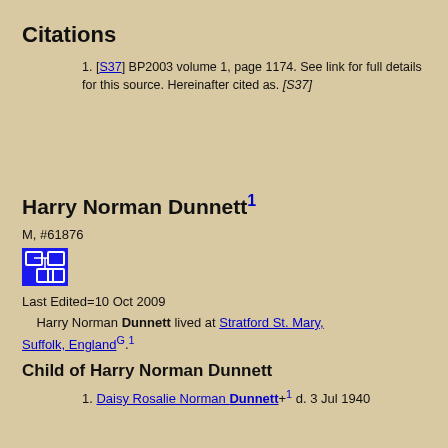Citations
[S37] BP2003 volume 1, page 1174. See link for full details for this source. Hereinafter cited as. [S37]
Harry Norman Dunnett1
M, #61876
Last Edited=10 Oct 2009
Harry Norman Dunnett lived at Stratford St. Mary, Suffolk, EnglandG.1
Child of Harry Norman Dunnett
Daisy Rosalie Norman Dunnett+1 d. 3 Jul 1940